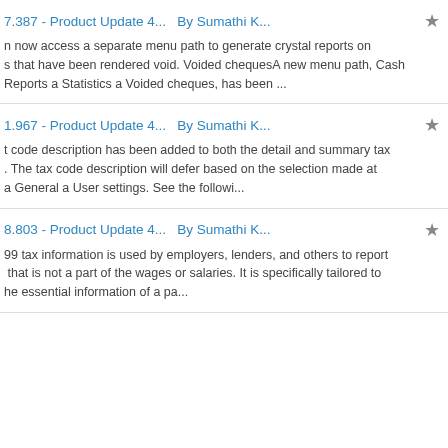7.387 - Product Update 4...  By Sumathi K...  n now access a separate menu path to generate crystal reports on s that have been rendered void. Voided chequesA new menu path, Cash Reports a Statistics a Voided cheques, has been ...
1.967 - Product Update 4...  By Sumathi K...  t code description has been added to both the detail and summary tax . The tax code description will defer based on the selection made at a General a User settings. See the followi...
8.803 - Product Update 4...  By Sumathi K...  99 tax information is used by employers, lenders, and others to report  that is not a part of the wages or salaries. It is specifically tailored to he essential information of a pa...